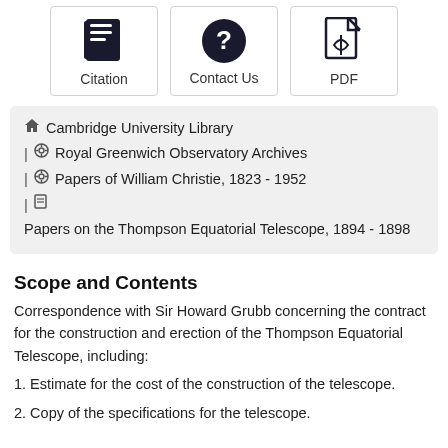[Figure (other): Three icon buttons: Citation (notebook icon), Contact Us (question mark circle icon), PDF (document with acrobat icon)]
Cambridge University Library | Royal Greenwich Observatory Archives | Papers of William Christie, 1823 - 1952 | Papers on the Thompson Equatorial Telescope, 1894 - 1898
Scope and Contents
Correspondence with Sir Howard Grubb concerning the contract for the construction and erection of the Thompson Equatorial Telescope, including:
1. Estimate for the cost of the construction of the telescope.
2. Copy of the specifications for the telescope.